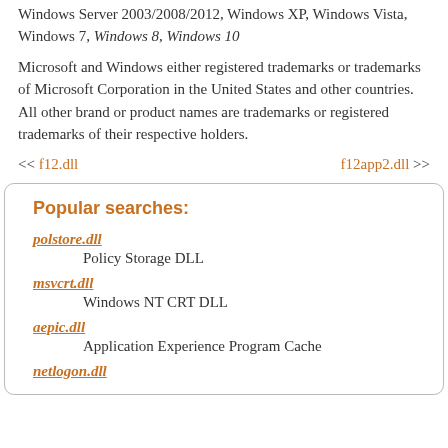Windows Server 2003/2008/2012, Windows XP, Windows Vista, Windows 7, Windows 8, Windows 10
Microsoft and Windows either registered trademarks or trademarks of Microsoft Corporation in the United States and other countries. All other brand or product names are trademarks or registered trademarks of their respective holders.
<< f12.dll    f12app2.dll >>
Popular searches:
polstore.dll — Policy Storage DLL
msvcrt.dll — Windows NT CRT DLL
aepic.dll — Application Experience Program Cache
netlogon.dll